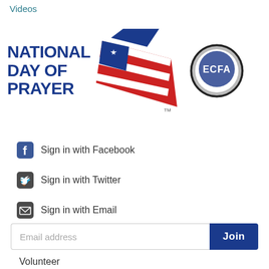Videos
[Figure (logo): National Day of Prayer logo with American flag graphic and ECFA Member badge]
Sign in with Facebook
Sign in with Twitter
Sign in with Email
Email address
Volunteer
Spread the word